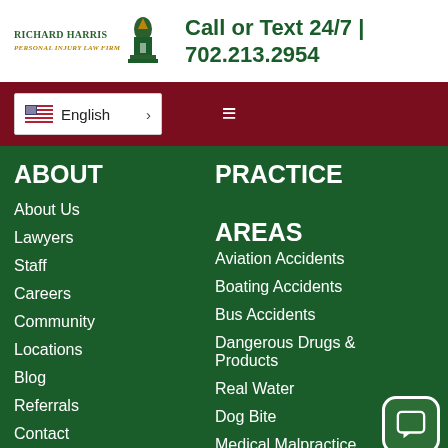[Figure (logo): Richard Harris Personal Injury Law Firm logo with building/dome icon]
Call or Text 24/7 | 702.213.2954
[Figure (screenshot): Navigation bar with English language selector and hamburger menu on dark red background]
ABOUT
About Us
Lawyers
Staff
Careers
Community
Locations
Blog
Referrals
Contact
PRACTICE AREAS
Aviation Accidents
Boating Accidents
Bus Accidents
Dangerous Drugs & Products
Real Water
Dog Bite
Medical Malpractice